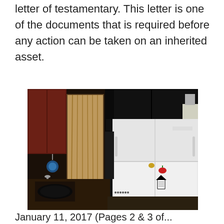letter of testamentary. This letter is one of the documents that is required before any action can be taken on an inherited asset.
[Figure (photo): Interior kitchen photo showing dark cabinets, a sink, and a white refrigerator with magnets, taken in low light.]
January 11, 2017 (Pages 2 & 3 of...